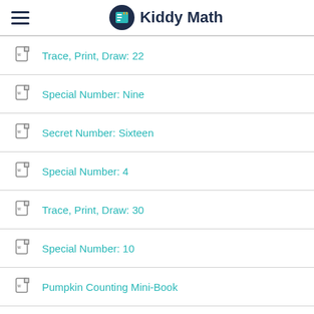Kiddy Math
Trace, Print, Draw: 22
Special Number: Nine
Secret Number: Sixteen
Special Number: 4
Trace, Print, Draw: 30
Special Number: 10
Pumpkin Counting Mini-Book
Special Number: 25